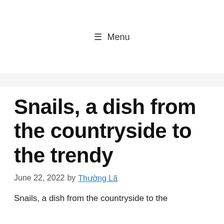≡ Menu
Snails, a dish from the countryside to the trendy
June 22, 2022 by Thường Lã
Snails, a dish from the countryside to the